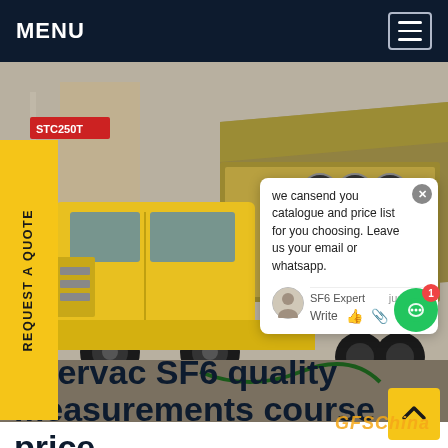MENU
[Figure (photo): Yellow SF6 service truck (ISUZU) with equipment trailer/canopy parked at an industrial site with a crane (STC250T) visible in background. Chat popup overlay showing: 'we cansend you catalogue and price list for you choosing. Leave us your email or whatsapp.' with SF6 Expert label and 'justnow' timestamp. GFSChina watermark visible.]
REQUEST A QUOTE
we cansend you catalogue and price list for you choosing. Leave us your email or whatsapp.
SF6 Expert   justnow
Write
Enervac SF6 quality measurements course price